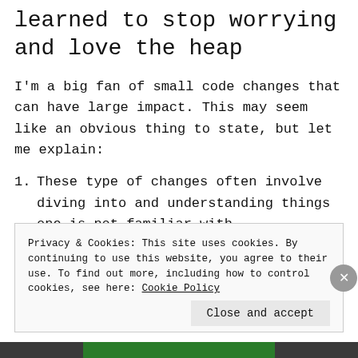learned to stop worrying and love the heap
I'm a big fan of small code changes that can have large impact. This may seem like an obvious thing to state, but let me explain:
These type of changes often involve diving into and understanding things one is not familiar with.
Privacy & Cookies: This site uses cookies. By continuing to use this website, you agree to their use. To find out more, including how to control cookies, see here: Cookie Policy
Close and accept